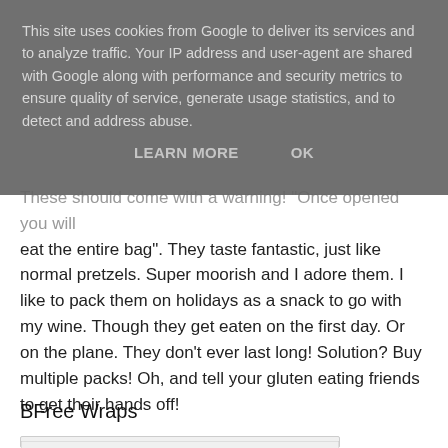This site uses cookies from Google to deliver its services and to analyze traffic. Your IP address and user-agent are shared with Google along with performance and security metrics to ensure quality of service, generate usage statistics, and to detect and address abuse.
LEARN MORE    OK
These should come with a warning! "Once opened you will eat the entire bag". They taste fantastic, just like normal pretzels. Super moorish and I adore them. I like to pack them on holidays as a snack to go with my wine. Though they get eaten on the first day. Or on the plane. They don't ever last long! Solution? Buy multiple packs! Oh, and tell your gluten eating friends to get their hands off!
BFree Wraps